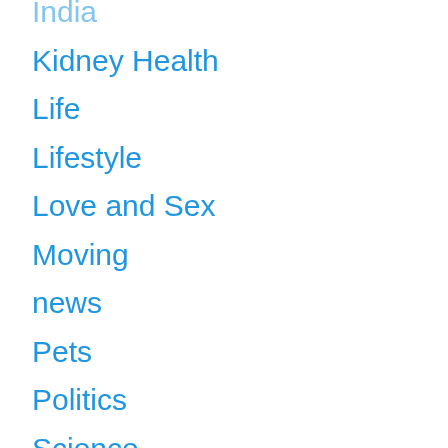India
Kidney Health
Life
Lifestyle
Love and Sex
Moving
news
Pets
Politics
Science
Shopping
Sports
Technology
Tips